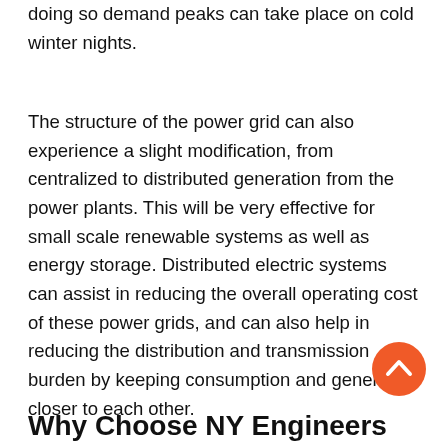doing so demand peaks can take place on cold winter nights.
The structure of the power grid can also experience a slight modification, from centralized to distributed generation from the power plants. This will be very effective for small scale renewable systems as well as energy storage. Distributed electric systems can assist in reducing the overall operating cost of these power grids, and can also help in reducing the distribution and transmission burden by keeping consumption and generation closer to each other.
[Figure (other): Orange circular scroll-to-top button with a white upward chevron arrow]
Why Choose NY Engineers